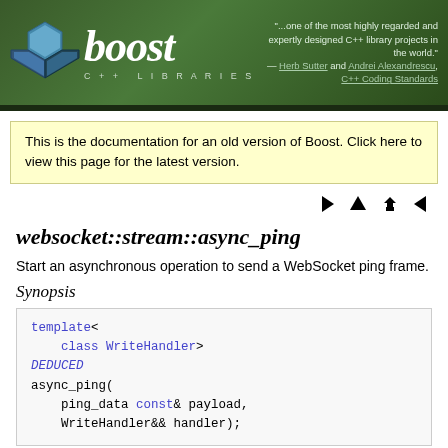[Figure (logo): Boost C++ Libraries header banner with hexagon logo, bold italic 'boost' title, 'C++ LIBRARIES' subtitle, and quote from Herb Sutter and Andrei Alexandrescu, C++ Coding Standards]
This is the documentation for an old version of Boost. Click here to view this page for the latest version.
websocket::stream::async_ping
Start an asynchronous operation to send a WebSocket ping frame.
Synopsis
template<
    class WriteHandler>
DEDUCED
async_ping(
    ping_data const& payload,
    WriteHandler&& handler);
Description